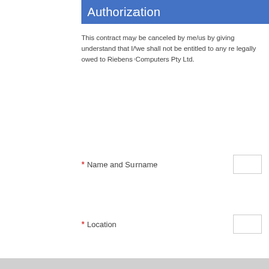Authorization
This contract may be canceled by me/us by giving understand that I/we shall not be entitled to any re legally owed to Riebens Computers Pty Ltd.
* Name and Surname
* Location
Char
I have read th